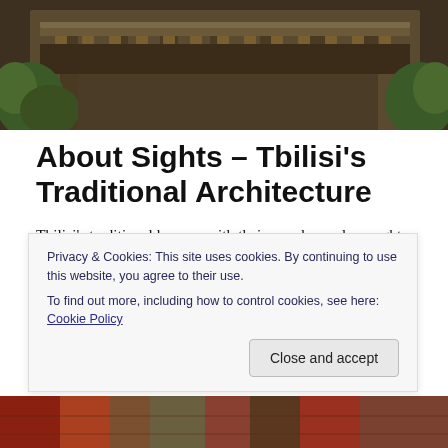[Figure (photo): Top portion of a traditional Tbilisi building with ornate wooden balconies and wrought iron details, surrounded by greenery]
About Sights – Tbilisi's Traditional Architecture
Tbilisi's traditional houses, with their wooden and wrought iron balconies, are undeniably beautiful and one of the city's best known historical features. Many of the houses date from the 19th century as much of the city was destroyed by the devastating Persian invasion of 1795
Privacy & Cookies: This site uses cookies. By continuing to use this website, you agree to their use.
To find out more, including how to control cookies, see here: Cookie Policy
[Figure (photo): Bottom strip of a colorful traditional Tbilisi market or bazaar scene]